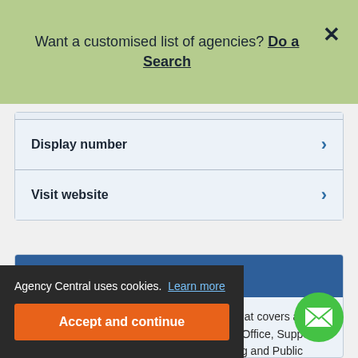Want a customised list of agencies? Do a Search
Display number
Visit website
Si Recruitment
Si Recruitment is an independent agency that covers a wide spectrum of Accountancy, Finance, Admin, Office, Support, Sales, Industrial Engineering, Manufacturing and Public Practice roles. ...Si Recruitment ...independent, specialist ...and the North E...
Agency Central uses cookies. Learn more
Accept and continue